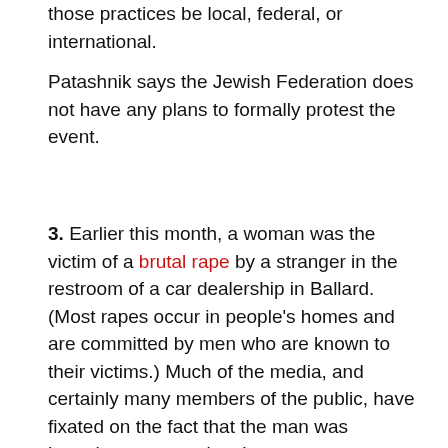those practices be local, federal, or international.
Patashnik says the Jewish Federation does not have any plans to formally protest the event.
3. Earlier this month, a woman was the victim of a brutal rape by a stranger in the restroom of a car dealership in Ballard. (Most rapes occur in people’s homes and are committed by men who are known to their victims.) Much of the media, and certainly many members of the public, have fixated on the fact that the man was homeless, suggesting that women are at particular risk of being raped by homeless strangers in Seattle due to policies the city council has adopted. And over the last few weeks, they have expressed their feelings
Many of the emails were directed at District 6 council member Mike O’Brien, whose district includes Ballard,